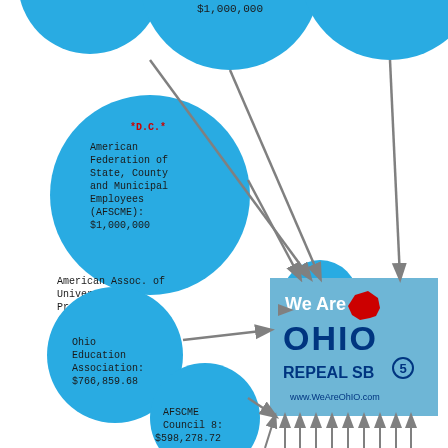[Figure (infographic): Network infographic showing donations flowing into 'We Are Ohio - REPEAL SB5' organization. Large blue circles represent donors: top circles (partially visible) showing $1,000,000; AFSCME (D.C.) $1,000,000; American Assoc. of University Professors AAUP (D.C.) $200,000; Ohio Education Association $766,859.68; AFSCME Council 8 $598,278.72. Arrows point from donor circles to central 'We Are Ohio REPEAL SB5' logo box. Additional arrows come from bottom of page.]